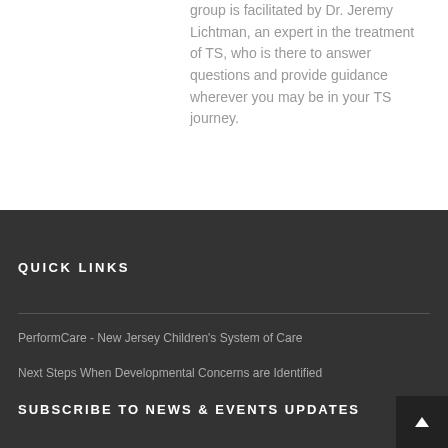group is facilitated by Dr. Jeremy Lichtman, an expert in the treatment of TS, who is there to answer questions and provide guidance wherever you may be in your TS journey.
QUICK LINKS
PerformCare - New Jersey Children's System of Care
Next Steps When Developmental Concerns are Identified
SUBSCRIBE TO NEWS & EVENTS UPDATES